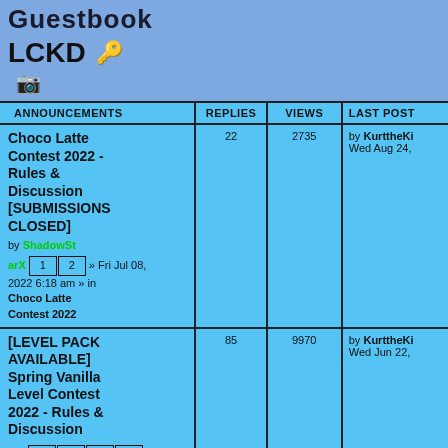Guestbook
LCKD
| ANNOUNCEMENTS | REPLIES | VIEWS | LAST POST |
| --- | --- | --- | --- |
| Choco Latte Contest 2022 - Rules & Discussion [SUBMISSIONS CLOSED] by ShadowStarX » Fri Jul 08, 2022 6:18 am » in Choco Latte Contest 2022 | 22 | 2735 | by KurttheKi... Wed Aug 24, |
| [LEVEL PACK AVAILABLE] Spring Vanilla Level Contest 2022 - Rules & Discussion by Valentine » Fri Apr 22, 2022 1:49 pm » in Vanilla Contest 2022 | 85 | 9970 | by KurttheKi... Wed Jun 22, |
| CURVE BETA 1... |  |  |  |